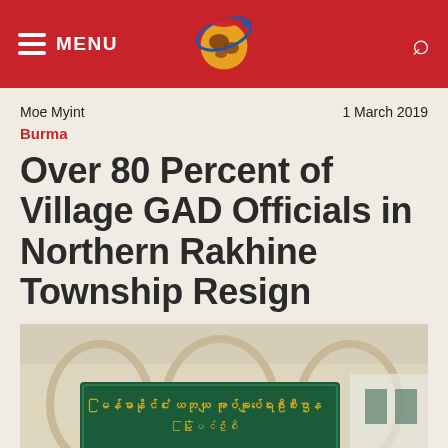MENU | [Logo] | [Search]
Moe Myint
1 March 2019
Burma
Over 80 Percent of Village GAD Officials in Northern Rakhine Township Resign
[Figure (photo): A building entrance with a green sign containing Burmese text in yellow lettering, with arched architectural details visible]